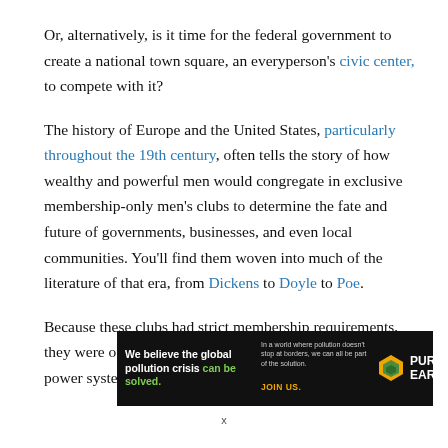Or, alternatively, is it time for the federal government to create a national town square, an everyperson's civic center, to compete with it?
The history of Europe and the United States, particularly throughout the 19th century, often tells the story of how wealthy and powerful men would congregate in exclusive membership-only men's clubs to determine the fate and future of governments, businesses, and even local communities. You'll find them woven into much of the literature of that era, from Dickens to Doyle to Poe.
Because these clubs had strict membership requirements, they were often at the core of governmental and business power systems.
[Figure (infographic): Pure Earth advertisement banner: 'We believe the global pollution crisis can be solved.' with tagline 'In a world where pollution doesn't stop at borders, we can all be part of the solution. JOIN US.' and Pure Earth logo with diamond/leaf icon.]
x